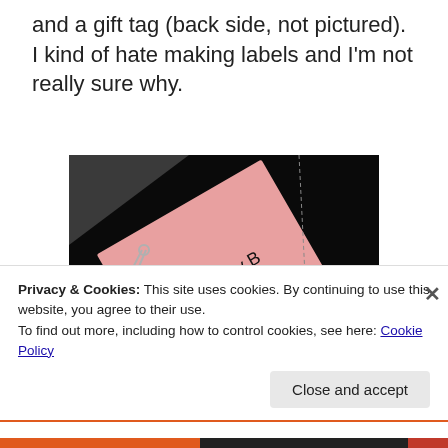and a gift tag (back side, not pictured). I kind of hate making labels and I'm not really sure why.
[Figure (photo): A pink gift tag on a dark background with a safety pin attached, reading 'TO Baby B' with a heart symbol, and a thin string or twine visible.]
Privacy & Cookies: This site uses cookies. By continuing to use this website, you agree to their use.
To find out more, including how to control cookies, see here: Cookie Policy
Close and accept